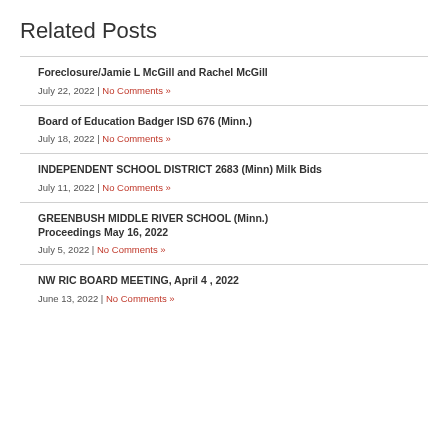Related Posts
Foreclosure/Jamie L McGill and Rachel McGill
July 22, 2022 | No Comments »
Board of Education Badger ISD 676 (Minn.)
July 18, 2022 | No Comments »
INDEPENDENT SCHOOL DISTRICT 2683 (Minn) Milk Bids
July 11, 2022 | No Comments »
GREENBUSH MIDDLE RIVER SCHOOL (Minn.) Proceedings May 16, 2022
July 5, 2022 | No Comments »
NW RIC BOARD MEETING, April 4 , 2022
June 13, 2022 | No Comments »